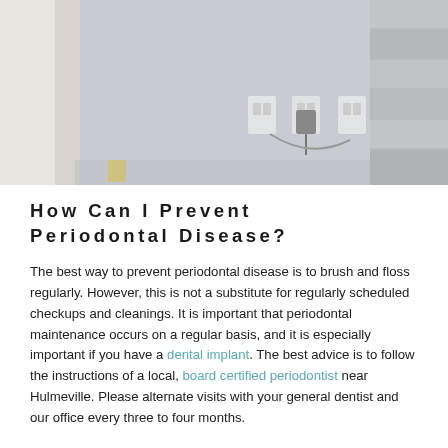[Figure (photo): Interior room photo showing a gray wall with electrical outlets and plugs, a white door/cabinet on the left, and stacked gray tiles or material on the right side.]
How Can I Prevent Periodontal Disease?
The best way to prevent periodontal disease is to brush and floss regularly. However, this is not a substitute for regularly scheduled checkups and cleanings. It is important that periodontal maintenance occurs on a regular basis, and it is especially important if you have a dental implant. The best advice is to follow the instructions of a local, board certified periodontist near Hulmeville. Please alternate visits with your general dentist and our office every three to four months.